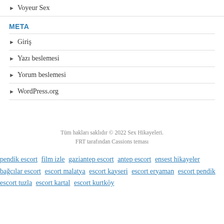Voyeur Sex
META
Giriş
Yazı beslemesi
Yorum beslemesi
WordPress.org
Tüm hakları saklıdır © 2022 Sex Hikayeleri.
FRT tarafından Cassions teması
pendik escort film izle gaziantep escort antep escort ensest hikayeler bağcılar escort escort malatya escort kayseri escort eryaman escort pendik escort tuzla escort kartal escort kurtköy